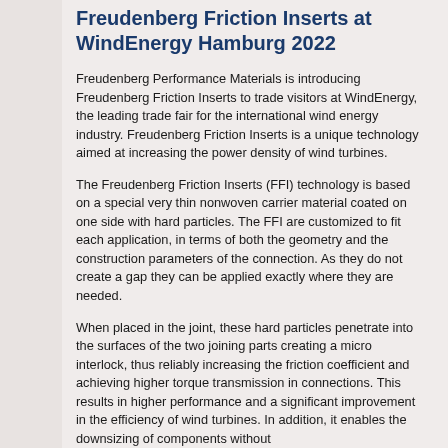Freudenberg Friction Inserts at WindEnergy Hamburg 2022
Freudenberg Performance Materials is introducing Freudenberg Friction Inserts to trade visitors at WindEnergy, the leading trade fair for the international wind energy industry. Freudenberg Friction Inserts is a unique technology aimed at increasing the power density of wind turbines.
The Freudenberg Friction Inserts (FFI) technology is based on a special very thin nonwoven carrier material coated on one side with hard particles. The FFI are customized to fit each application, in terms of both the geometry and the construction parameters of the connection. As they do not create a gap they can be applied exactly where they are needed.
When placed in the joint, these hard particles penetrate into the surfaces of the two joining parts creating a micro interlock, thus reliably increasing the friction coefficient and achieving higher torque transmission in connections. This results in higher performance and a significant improvement in the efficiency of wind turbines. In addition, it enables the downsizing of components without